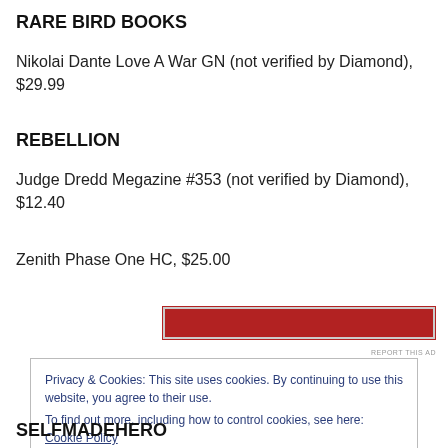RARE BIRD BOOKS
Nikolai Dante Love A War GN (not verified by Diamond), $29.99
REBELLION
Judge Dredd Megazine #353 (not verified by Diamond), $12.40
Zenith Phase One HC, $25.00
[Figure (other): Red advertisement banner with white border]
Privacy & Cookies: This site uses cookies. By continuing to use this website, you agree to their use.
To find out more, including how to control cookies, see here: Cookie Policy
SELFMADEHERO